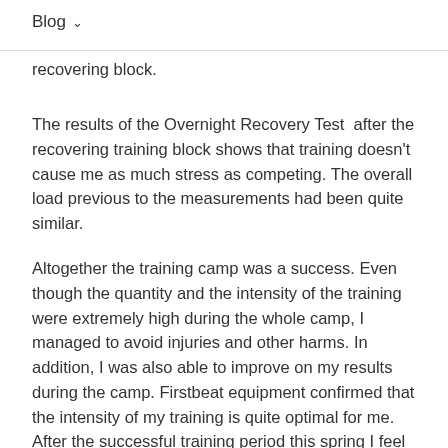Blog ∨
recovering block.
The results of the Overnight Recovery Test  after the recovering training block shows that training doesn't cause me as much stress as competing. The overall load previous to the measurements had been quite similar.
Altogether the training camp was a success. Even though the quantity and the intensity of the training were extremely high during the whole camp, I managed to avoid injuries and other harms. In addition, I was also able to improve on my results during the camp. Firstbeat equipment confirmed that the intensity of my training is quite optimal for me. After the successful training period this spring I feel confident to start the competitive season 2014 and reach for the